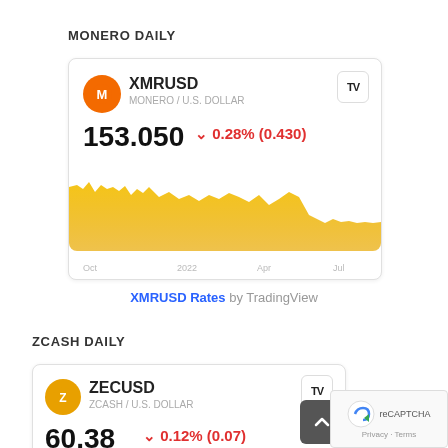MONERO DAILY
[Figure (other): TradingView widget card for XMRUSD (Monero / U.S. Dollar). Shows price 153.050 with change -0.28% (0.430). Area chart showing price history from Oct 2021 through Jul 2022 with gold/yellow fill.]
XMRUSD Rates by TradingView
ZCASH DAILY
[Figure (other): TradingView widget card for ZECUSD (Zcash / U.S. Dollar). Shows price 60.38 with change -0.12% (0.07). Partially visible area chart with gold/yellow fill.]